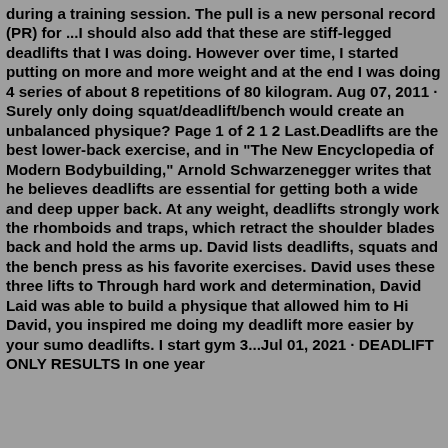during a training session. The pull is a new personal record (PR) for ...I should also add that these are stiff-legged deadlifts that I was doing. However over time, I started putting on more and more weight and at the end I was doing 4 series of about 8 repetitions of 80 kilogram. Aug 07, 2011 · Surely only doing squat/deadlift/bench would create an unbalanced physique? Page 1 of 2 1 2 Last.Deadlifts are the best lower-back exercise, and in "The New Encyclopedia of Modern Bodybuilding," Arnold Schwarzenegger writes that he believes deadlifts are essential for getting both a wide and deep upper back. At any weight, deadlifts strongly work the rhomboids and traps, which retract the shoulder blades back and hold the arms up. David lists deadlifts, squats and the bench press as his favorite exercises. David uses these three lifts to Through hard work and determination, David Laid was able to build a physique that allowed him to Hi David, you inspired me doing my deadlift more easier by your sumo deadlifts. I start gym 3...Jul 01, 2021 · DEADLIFT ONLY RESULTS In one year